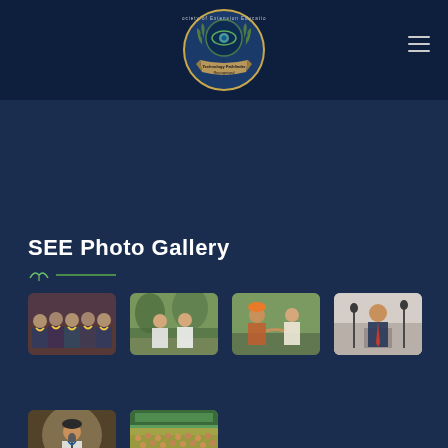[Figure (logo): Society of Extension Education circular logo with laurel wreath and tagline 'Technology Pathfinder Recognised']
SEE Photo Gallery
[Figure (photo): Group of men seated in a row wearing scarves/garlands at an event]
[Figure (photo): Two men in formal jackets standing outdoors on a path]
[Figure (photo): Two men, one in traditional orange turban, shaking hands or interacting]
[Figure (photo): Man speaking at a microphone on a stage]
[Figure (photo): Man speaking at a microphone wearing a cap]
[Figure (photo): Large audience/crowd seated at an event outdoors]